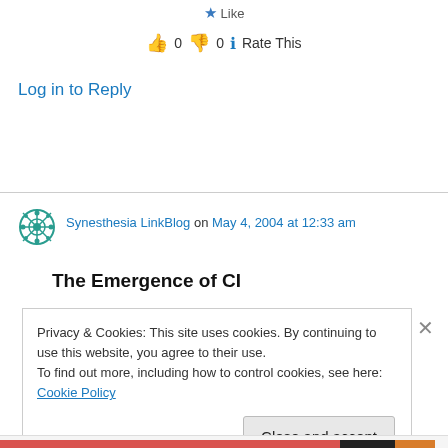Like
👍 0 👎 0 ℹ Rate This
Log in to Reply
Synesthesia LinkBlog on May 4, 2004 at 12:33 am
The Emergence of CI
Privacy & Cookies: This site uses cookies. By continuing to use this website, you agree to their use.
To find out more, including how to control cookies, see here: Cookie Policy
Close and accept